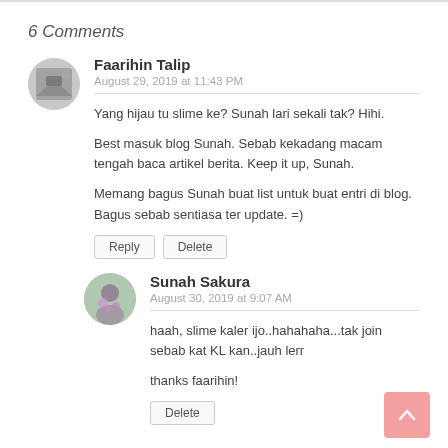6 Comments
Faarihin Talip
August 29, 2019 at 11:43 PM
Yang hijau tu slime ke? Sunah lari sekali tak? Hihi.
Best masuk blog Sunah. Sebab kekadang macam tengah baca artikel berita. Keep it up, Sunah.
Memang bagus Sunah buat list untuk buat entri di blog. Bagus sebab sentiasa ter update. =)
Reply  Delete
Sunah Sakura
August 30, 2019 at 9:07 AM
haah, slime kaler ijo..hahahaha...tak join sebab kat KL kan..jauh lerr
thanks faarihin!
Delete